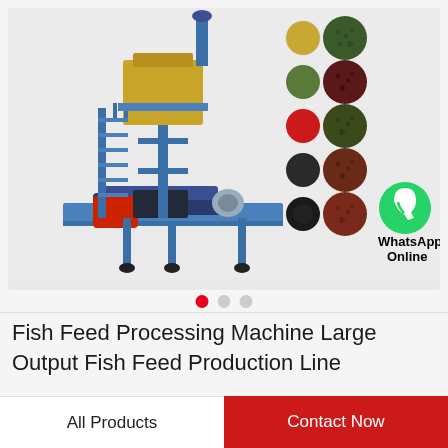[Figure (photo): Fish feed processing machine (large industrial extruder with blue frame, elevated hopper, stairs, conveyor) on left, and multiple circular samples of colored fish feed pellets (gold, green, dark green, red, dark, brown, black, reddish-brown) on right, with a WhatsApp green icon and text 'WhatsApp Online' in bottom right corner. Three carousel dots below the image.]
Fish Feed Processing Machine Large Output Fish Feed Production Line
All Products
Contact Now